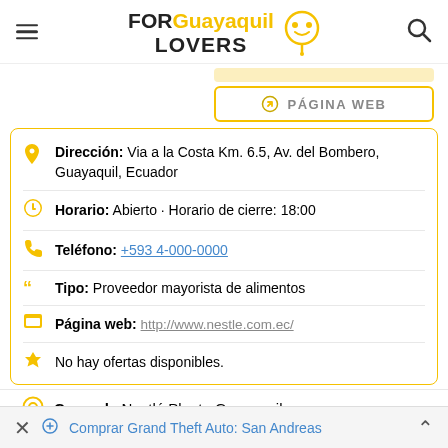FOR Guayaquil LOVERS
PÁGINA WEB
Dirección: Via a la Costa Km. 6.5, Av. del Bombero, Guayaquil, Ecuador
Horario: Abierto · Horario de cierre: 18:00
Teléfono: +593 4-000-0000
Tipo: Proveedor mayorista de alimentos
Página web: http://www.nestle.com.ec/
No hay ofertas disponibles.
Cerca de Nestlé Planta Guayaquil:
Comprar Grand Theft Auto: San Andreas